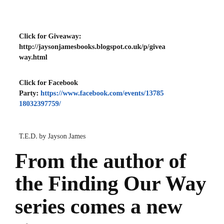Click for Giveaway: http://jaysonjamesbooks.blogspot.co.uk/p/giveaway.html
Click for Facebook Party: https://www.facebook.com/events/137851803239 7759/
T.E.D. by Jayson James
From the author of the Finding Our Way series comes a new story.